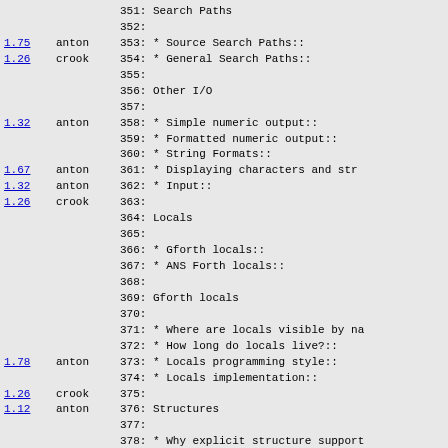351: Search Paths
352:
1.75  anton  353: * Source Search Paths::
1.26  crook  354: * General Search Paths::
355:
356: Other I/O
357:
1.32  anton  358: * Simple numeric output::
359: * Formatted numeric output::
360: * String Formats::
1.67  anton  361: * Displaying characters and str
1.32  anton  362: * Input::
1.26  crook  363:
364: Locals
365:
366: * Gforth locals::
367: * ANS Forth locals::
368:
369: Gforth locals
370:
371: * Where are locals visible by na
372: * How long do locals live?::
1.78  anton  373: * Locals programming style::
374: * Locals implementation::
1.26  crook  375:
1.12  anton  376: Structures
377:
378: * Why explicit structure support
379: * Structure Usage::
380: * Structure Naming Convention::